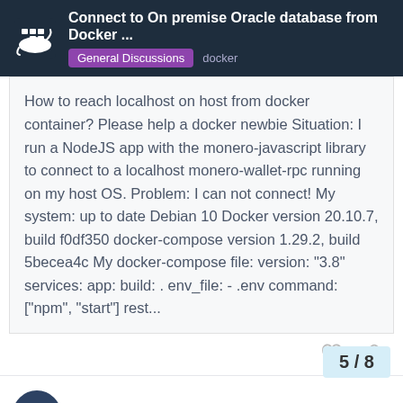Connect to On premise Oracle database from Docker ... | General Discussions | docker
How to reach localhost on host from docker container? Please help a docker newbie Situation: I run a NodeJS app with the monero-javascript library to connect to a localhost monero-wallet-rpc running on my host OS. Problem: I can not connect! My system: up to date Debian 10 Docker version 20.10.7, build f0df350 docker-compose version 1.29.2, build 5becea4c My docker-compose file: version: "3.8" services: app: build: . env_file: - .env command: ["npm", "start"] rest...
purnima1612 May 27
Hello @meyay
As @rimelek as mentioned I am trying to Oracle database running on the host mach
5 / 8